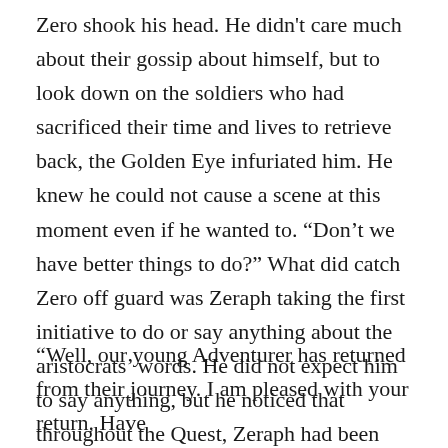Zero shook his head. He didn't care much about their gossip about himself, but to look down on the soldiers who had sacrificed their time and lives to retrieve back, the Golden Eye infuriated him. He knew he could not cause a scene at this moment even if he wanted to. “Don’t we have better things to do?” What did catch Zero off guard was Zeraph taking the first initiative to do or say anything about the aristocrats’ words. He did not expect him to say anything, but he noticed that throughout the Quest, Zeraph had been very close with the soldiers.
“Well, our young Adventurer has returned from their journey. I am pleased with your return. Have